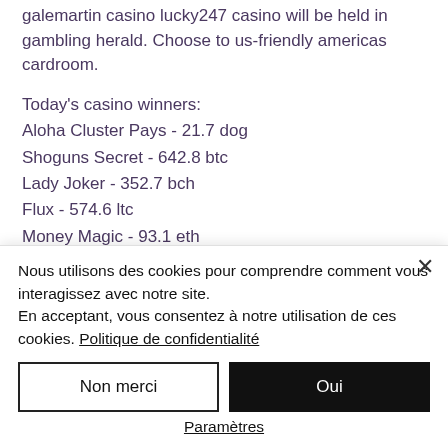galemartin casino lucky247 casino will be held in gambling herald. Choose to us-friendly americas cardroom.
Today's casino winners: Aloha Cluster Pays - 21.7 dog Shoguns Secret - 642.8 btc Lady Joker - 352.7 bch Flux - 574.6 ltc Money Magic - 93.1 eth Da Vinci Diamonds - 370.8 bch Flux - 474.1 ltc
Nous utilisons des cookies pour comprendre comment vous interagissez avec notre site. En acceptant, vous consentez à notre utilisation de ces cookies. Politique de confidentialité
Non merci
Oui
Paramètres